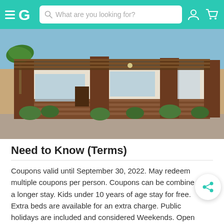EG [logo] | Search bar: What are you looking for? | User icon | Cart icon
[Figure (photo): Exterior photo of a modern single-story property with wood-panel facade, large windows, green shrubs, palm tree and blue sky background.]
Need to Know (Terms)
Coupons valid until September 30, 2022. May redeem multiple coupons per person. Coupons can be combined a longer stay. Kids under 10 years of age stay for free. Extra beds are available for an extra charge. Public holidays are included and considered Weekends. Open 24/7. Check in at 2 PM, Check out at 11:30 AM. Weekdays are considered